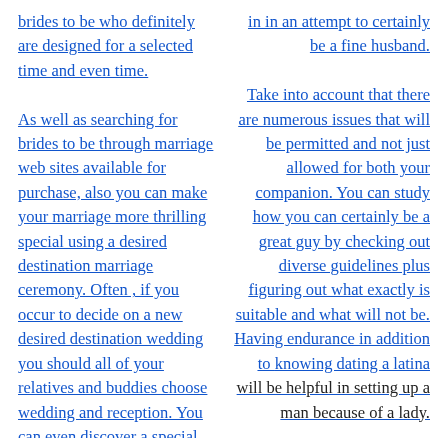brides to be who definitely are designed for a selected time and even time. As well as searching for brides to be through marriage web sites available for purchase, also you can make your marriage more thrilling special using a desired destination marriage ceremony. Often , if you occur to decide on a new desired destination wedding you should all of your relatives and buddies choose wedding and reception. You can even discover a special wedding
in in an attempt to certainly be a fine husband. Take into account that there are numerous issues that will be permitted and not just allowed for both your companion. You can study how you can certainly be a great guy by checking out diverse guidelines plus figuring out what exactly is suitable and what will not be. Having endurance in addition to knowing dating a latina will be helpful in setting up a man because of a lady.